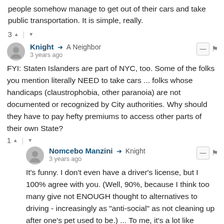people somehow manage to get out of their cars and take public transportation. It is simple, really.
3 ↑ | ↓
Knight → A Neighbor
3 years ago
FYI: Staten Islanders are part of NYC, too. Some of the folks you mention literally NEED to take cars ... folks whose handicaps (claustrophobia, other paranoia) are not documented or recognized by City authorities. Why should they have to pay hefty premiums to access other parts of their own State?
1 ↑ | ↓
Nomcebo Manzini → Knight
3 years ago
It's funny. I don't even have a driver's license, but I 100% agree with you. (Well, 90%, because I think too many give not ENOUGH thought to alternatives to driving - increasingly as "anti-social" as not cleaning up after one's pet used to be.) ... To me, it's a lot like people hooked on opiates - another rough